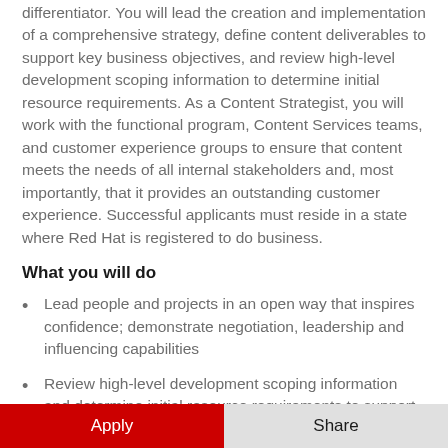differentiator. You will lead the creation and implementation of a comprehensive strategy, define content deliverables to support key business objectives, and review high-level development scoping information to determine initial resource requirements. As a Content Strategist, you will work with the functional program, Content Services teams, and customer experience groups to ensure that content meets the needs of all internal stakeholders and, most importantly, that it provides an outstanding customer experience. Successful applicants must reside in a state where Red Hat is registered to do business.
What you will do
Lead people and projects in an open way that inspires confidence; demonstrate negotiation, leadership and influencing capabilities
Review high-level development scoping information and determine initial resource requirements to support initiatives
Assess the audience for your program deliverables and presentations and communicate clearly, concisely, confidently, and effectively in written and verbal